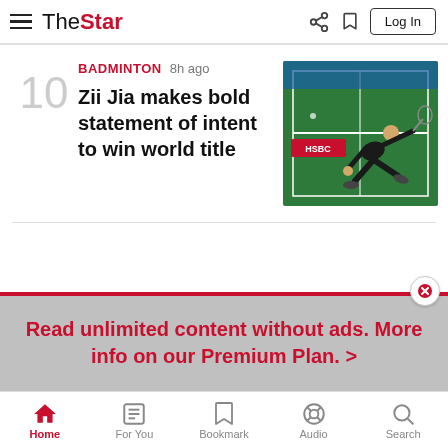The Star – Log In
10
BADMINTON 8h ago
Zii Jia makes bold statement of intent to win world title
[Figure (photo): Badminton player Zii Jia diving/lunging low on a green badminton court during a match, with HSBC advertising boards visible in the background.]
Read unlimited content without ads. More info on our Premium Plan. >
Home | For You | Bookmark | Audio | Search